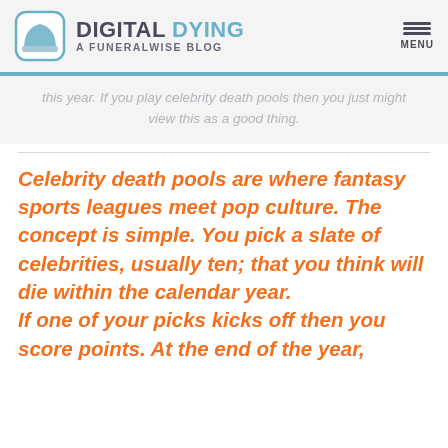DIGITAL DYING — A FUNERALWISE BLOG
this year. If you play celebrity death pools then you just might view this as a good thing.
Celebrity death pools are where fantasy sports leagues meet pop culture. The concept is simple. You pick a slate of celebrities, usually ten; that you think will die within the calendar year. If one of your picks kicks off then you score points.  At the end of the year,